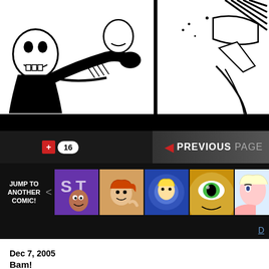[Figure (illustration): Black and white comic strip panels showing cartoon character figures in an action scene. Left panel shows a large figure grabbing or confronting another. Right panel shows a figure with motion lines.]
[Figure (screenshot): Navigation bar with +/favorite button showing count of 16, and a PREVIOUS PAGE button with red triangle arrow on dark background]
[Figure (screenshot): Comic navigation bar with JUMP TO ANOTHER COMIC label and left arrow, showing 5 comic thumbnail images on dark background]
[Figure (screenshot): Dark bar with partial blue link text starting with D]
Dec 7, 2005
Bam!
I didn't mention it anywhere on the website until now, but all of the shirts and books from the preorder campaign shipped out last week. Just a reminder: the books are shipped t the shirts. So, if you ordered a little of everything, don't be surprised when your co